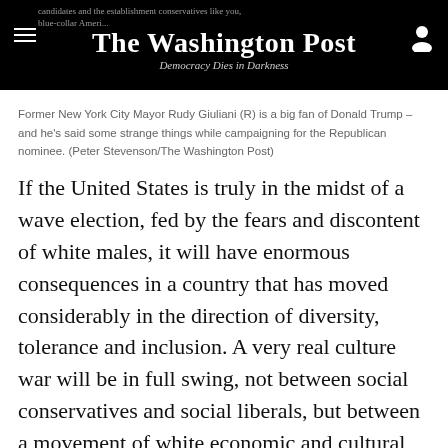The Washington Post — Democracy Dies in Darkness
Former New York City Mayor Rudy Giuliani (R) is a big fan of Donald Trump – and he's said some strange things while campaigning for the Republican nominee. (Peter Stevenson/The Washington Post)
If the United States is truly in the midst of a wave election, fed by the fears and discontent of white males, it will have enormous consequences in a country that has moved considerably in the direction of diversity, tolerance and inclusion. A very real culture war will be in full swing, not between social conservatives and social liberals, but between a movement of white economic and cultural grievances and a party of social elites and ascendant minorities. This struggle — rooted in race and class — would be far more bitter than the old culture war of ideas...